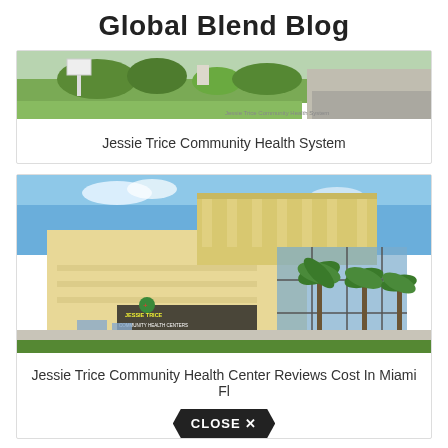Global Blend Blog
[Figure (photo): Aerial/ground view of Jessie Trice Community Health System building with green landscaping and parking]
Jessie Trice Community Health System
[Figure (photo): Exterior photo of Jessie Trice Community Health Center corporate office building with palm trees and blue sky]
Jessie Trice Community Health Center Reviews Cost In Miami Fl